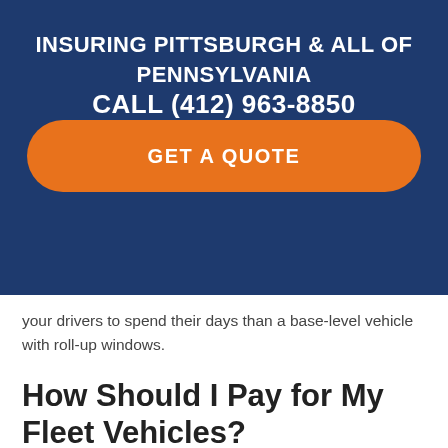INSURING PITTSBURGH & ALL OF PENNSYLVANIA
CALL (412) 963-8850
GET A QUOTE
your drivers to spend their days than a base-level vehicle with roll-up windows.
How Should I Pay for My Fleet Vehicles?